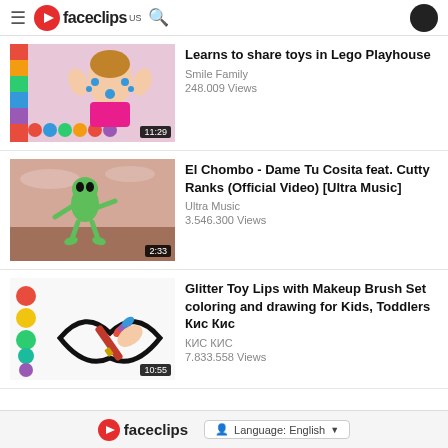faceclips US
[Figure (screenshot): Video thumbnail: girl with colorful toys, duration 11:29]
Learns to share toys in Lego Playhouse
Smile Family
248.009 Views
[Figure (screenshot): Video thumbnail: green alien character, duration 2:33]
El Chombo - Dame Tu Cosita feat. Cutty Ranks (Official Video) [Ultra Music]
Ultra Music
3.546.300 Views
[Figure (screenshot): Video thumbnail: lips drawing with makeup brush and colorful dots, duration 10:55]
Glitter Toy Lips with Makeup Brush Set coloring and drawing for Kids, Toddlers Кис Кис
КИС КИС
7.833.558 Views
faceclips   Language: English